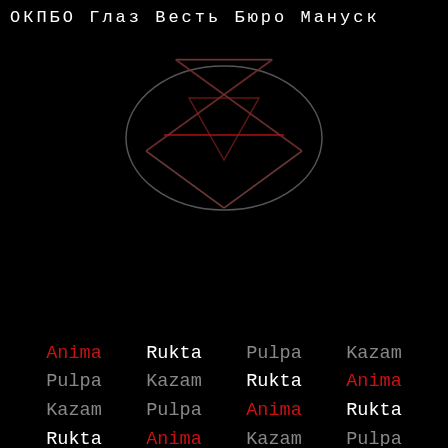ОКПБО Глаз Весть Бюро Мануск
[Figure (illustration): Inverted pentagram inside an oval/ellipse shape, drawn with dark red and gray metallic lines on black background]
Anima Rukta Pulpa Kazam
Pulpa Kazam Rukta Anima
Kazam Pulpa Anima Rukta
Rukta Anima Kazam Pulpa
Rukta Anima Kazam Pulpa (partially visible bottom row)